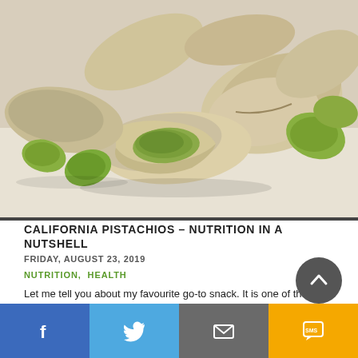[Figure (photo): Close-up photo of California pistachios, some in shells and some shelled, with green and beige colors on a light background]
CALIFORNIA PISTACHIOS – NUTRITION IN A NUTSHELL
FRIDAY, AUGUST 23, 2019
NUTRITION, HEALTH
Let me tell you about my favourite go-to snack. It is one of the lowest calorie, lowest fat and highest fiber nut. Since over a